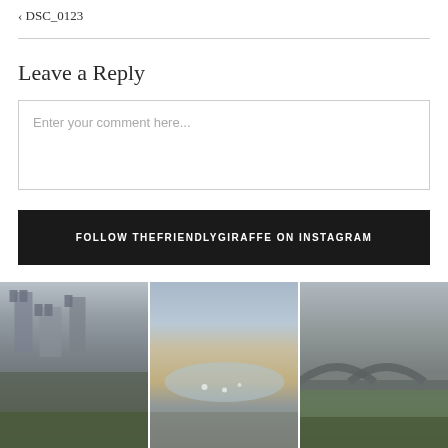< DSC_0123
Leave a Reply
Enter your comment here...
FOLLOW THEFRIENDLYGIRAFFE ON INSTAGRAM
[Figure (photo): Ruins of a stone castle with battlements and towers, overcast sky]
[Figure (photo): View from castle walls over a coastal bay with sandy beach and boats, overcast sky]
[Figure (photo): Stone arched bridge over a river with greenery, overcast sky]